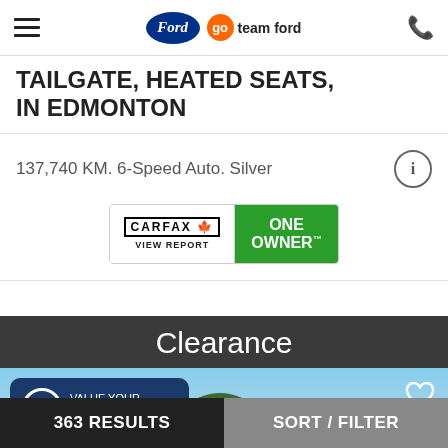Ford / Go Team Ford - Navigation header with phone icon
TAILGATE, HEATED SEATS, IN EDMONTON
137,740 KM. 6-Speed Auto. Silver
[Figure (logo): CARFAX Canada One Owner badge - View Report]
Clearance
[Figure (photo): Clearance vehicle listing photo showing a dealership lot with trees and a car, with a VALUE YOUR TRADE! button overlay and a heart/favourite icon]
363 RESULTS | SORT / FILTER